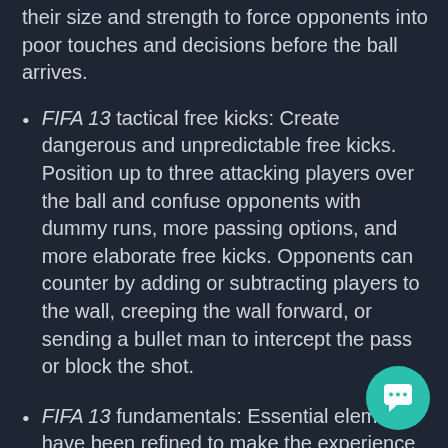their size and strength to force opponents into poor touches and decisions before the ball arrives.
FIFA 13 tactical free kicks: Create dangerous and unpredictable free kicks. Position up to three attacking players over the ball and confuse opponents with dummy runs, more passing options, and more elaborate free kicks. Opponents can counter by adding or subtracting players to the wall, creeping the wall forward, or sending a bullet man to intercept the pass or block the shot.
FIFA 13 fundamentals: Essential elements have been refined to make the experience more authentic. Referees will now make better decisions awarding fouls and cards, goalkeeper